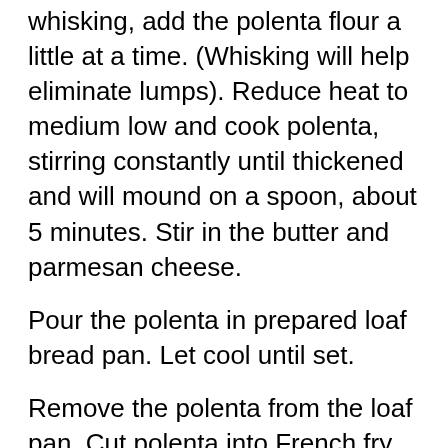whisking, add the polenta flour a little at a time. (Whisking will help eliminate lumps). Reduce heat to medium low and cook polenta, stirring constantly until thickened and will mound on a spoon, about 5 minutes. Stir in the butter and parmesan cheese.
Pour the polenta in prepared loaf bread pan. Let cool until set.
Remove the polenta from the loaf pan. Cut polenta into French fry sticks, about 4-inches x ¼-inch. Makes about 40 polenta fries.
In a large non-stick skillet, add enough olive oil to come up 1-inch of the sides of the pan. Heat oil over medium heat. To check if oil is hot enough, add one polenta fry. If steady small bubbles surround the fry, the oil is hot enough. Fry polenta fries in batches, being careful not to over crowd